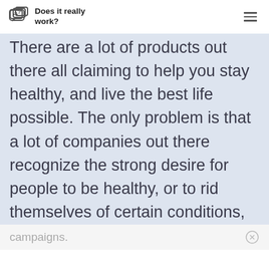Does it really work?
There are a lot of products out there all claiming to help you stay healthy, and live the best life possible. The only problem is that a lot of companies out there recognize the strong desire for people to be healthy, or to rid themselves of certain conditions, and may try to take advantage with poorly made products and slick advertising campaigns.